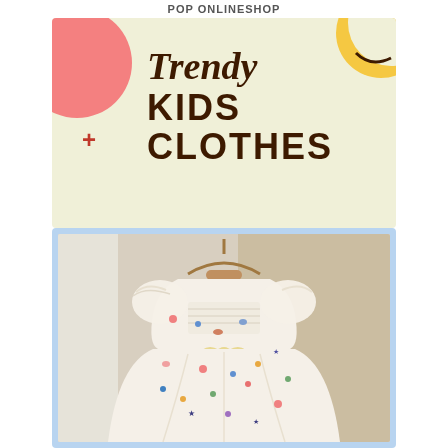POP ONLINESHOP
[Figure (infographic): Promotional banner with light yellow background, pink blob shape on upper left, yellow blob on upper right, red plus sign on left side, and bold text reading 'Trendy KIDS CLOTHES' in dark brown]
[Figure (photo): A children's floral embroidered lace dress on a hanger, displayed with a light blue border frame. The dress is cream/white with colorful floral embroidery and a satin ribbon bow at the waist.]